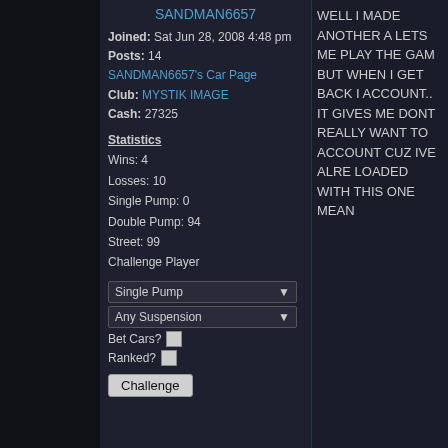SANDMAN6657
Joined: Sat Jun 28, 2008 4:48 pm
Posts: 14
SANDMAN6657's Car Page
Club: MYSTIK IMAGE
Cash: 27325
Statistics
Wins: 4
Losses: 10
Single Pump: 0
Double Pump: 94
Street: 99
Challenge Player
Single Pump (dropdown)
Any Suspension (dropdown)
Bet Cars? [checkbox]
Ranked? [checkbox]
Challenge (button)
WELL I MADE ANOTHER A LETS ME PLAY THE GAM BUT WHEN I GET BACK I ACCOUNT.. IT GIVES ME DONT REALLY WANT TO ACCOUNT CUZ IVE ALRE LOADED WITH THIS ONE MEAN
Tue Jul 01, 2008 1:22 pm
PROFILE
Candydrippin88
Joined: Sun Jun 29, 2008 4:59 pm
Posts: 5
Candydrippin88's Car Page
Club: MYSTIK IMAGE
Cash: 67700
Statistics
Wins: 1
The same thing
Yea man im having the sam play once in a while but mo me that same message.